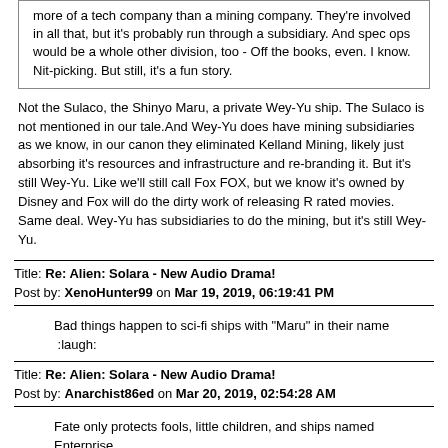more of a tech company than a mining company. They're involved in all that, but it's probably run through a subsidiary. And spec ops would be a whole other division, too - Off the books, even. I know. Nit-picking. But still, it's a fun story.
Not the Sulaco, the Shinyo Maru, a private Wey-Yu ship. The Sulaco is not mentioned in our tale.And Wey-Yu does have mining subsidiaries as we know, in our canon they eliminated Kelland Mining, likely just absorbing it's resources and infrastructure and re-branding it. But it's still Wey-Yu. Like we'll still call Fox FOX, but we know it's owned by Disney and Fox will do the dirty work of releasing R rated movies. Same deal. Wey-Yu has subsidiaries to do the mining, but it's still Wey-Yu.
Title: Re: Alien: Solara - New Audio Drama!
Post by: XenoHunter99 on Mar 19, 2019, 06:19:41 PM
Bad things happen to sci-fi ships with "Maru" in their name  :laugh:
Title: Re: Alien: Solara - New Audio Drama!
Post by: Anarchist86ed on Mar 20, 2019, 02:54:28 AM
Fate only protects fools, little children, and ships named Enterprise.
Title: Re: Alien: Solara - New Audio Drama!
Post by: XenoHunter99 on Mar 20, 2019, 03:43:34 AM